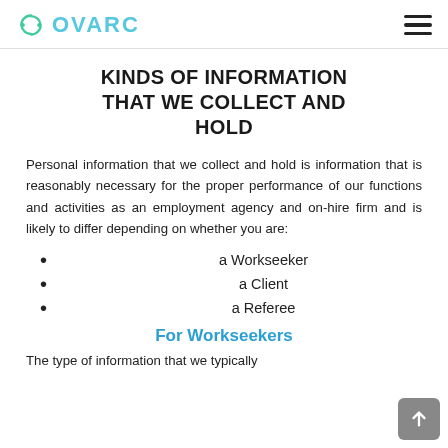OVARC
KINDS OF INFORMATION THAT WE COLLECT AND HOLD
Personal information that we collect and hold is information that is reasonably necessary for the proper performance of our functions and activities as an employment agency and on-hire firm and is likely to differ depending on whether you are:
a Workseeker
a Client
a Referee
For Workseekers
The type of information that we typically